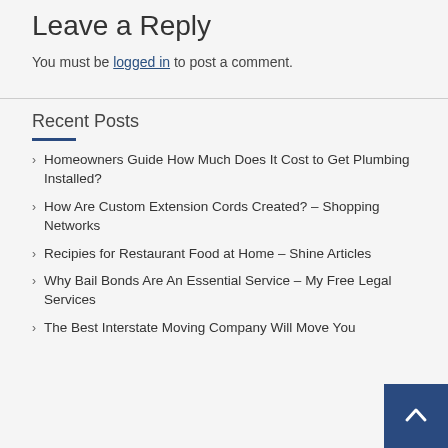Leave a Reply
You must be logged in to post a comment.
Recent Posts
Homeowners Guide How Much Does It Cost to Get Plumbing Installed?
How Are Custom Extension Cords Created? – Shopping Networks
Recipies for Restaurant Food at Home – Shine Articles
Why Bail Bonds Are An Essential Service – My Free Legal Services
The Best Interstate Moving Company Will Move You With Ease – The Interstate Moving Company